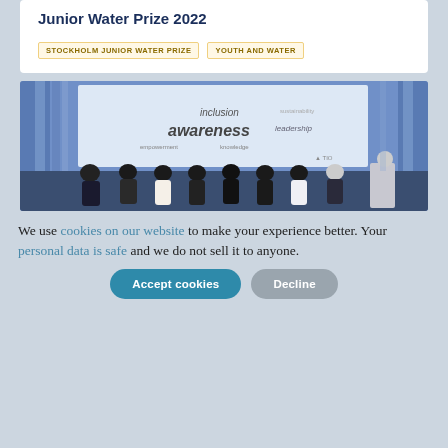Junior Water Prize 2022
STOCKHOLM JUNIOR WATER PRIZE
YOUTH AND WATER
[Figure (photo): Panel discussion at a conference; multiple young people seated on stage in front of a large screen displaying a word cloud with words like 'inclusion', 'awareness', 'leadership'. A speaker stands at a podium on the right.]
We use cookies on our website to make your experience better. Your personal data is safe and we do not sell it to anyone.